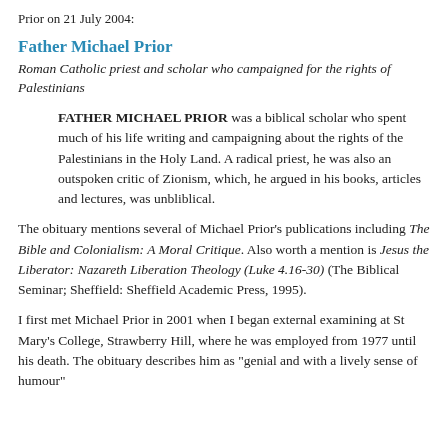Prior on 21 July 2004:
Father Michael Prior
Roman Catholic priest and scholar who campaigned for the rights of Palestinians
FATHER MICHAEL PRIOR was a biblical scholar who spent much of his life writing and campaigning about the rights of the Palestinians in the Holy Land. A radical priest, he was also an outspoken critic of Zionism, which, he argued in his books, articles and lectures, was unbliblical.
The obituary mentions several of Michael Prior's publications including The Bible and Colonialism: A Moral Critique. Also worth a mention is Jesus the Liberator: Nazareth Liberation Theology (Luke 4.16-30) (The Biblical Seminar; Sheffield: Sheffield Academic Press, 1995).
I first met Michael Prior in 2001 when I began external examining at St Mary's College, Strawberry Hill, where he was employed from 1977 until his death. The obituary describes him as "genial and with a lively sense of humour"